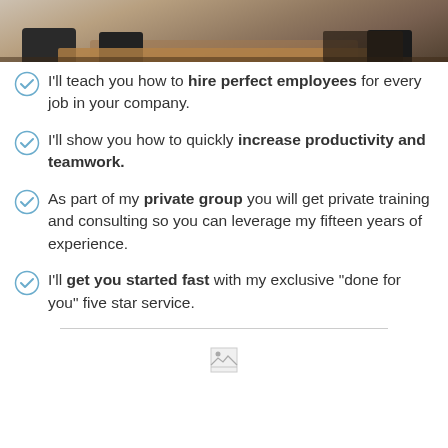[Figure (photo): Photo of an office workspace with desks and chairs, cropped to show the upper portion]
I'll teach you how to hire perfect employees for every job in your company.
I'll show you how to quickly increase productivity and teamwork.
As part of my private group you will get private training and consulting so you can leverage my fifteen years of experience.
I'll get you started fast with my exclusive "done for you" five star service.
[Figure (logo): Small logo image at the bottom center of the page]